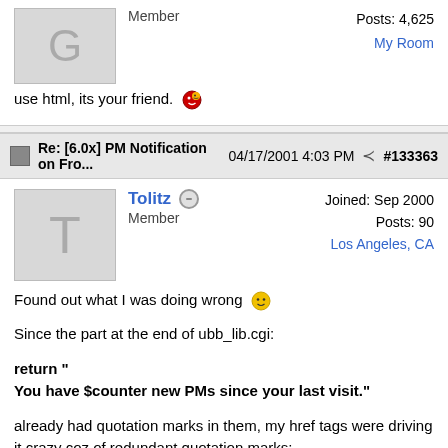Member    Posts: 4,625    My Room
use html, its your friend. 🙂
Re: [6.0x] PM Notification on Fro...   04/17/2001 4:03 PM   #133363
Tolitz   Member   Joined: Sep 2000   Posts: 90   Los Angeles, CA
Found out what I was doing wrong 🙂
Since the part at the end of ubb_lib.cgi:
return "
You have $counter new PMs since your last visit."
already had quotation marks in them, my href tags were driving it crazy coz of redundant quotation marks:
return "